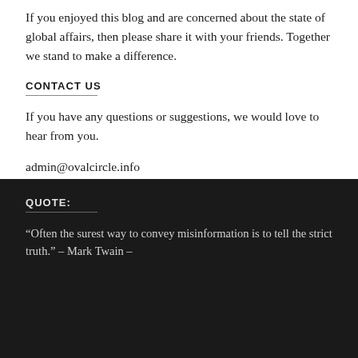If you enjoyed this blog and are concerned about the state of global affairs, then please share it with your friends. Together we stand to make a difference.
CONTACT US
If you have any questions or suggestions, we would love to hear from you.
admin@ovalcircle.info
QUOTE:
“Often the surest way to convey misinformation is to tell the strict truth.” – Mark Twain –